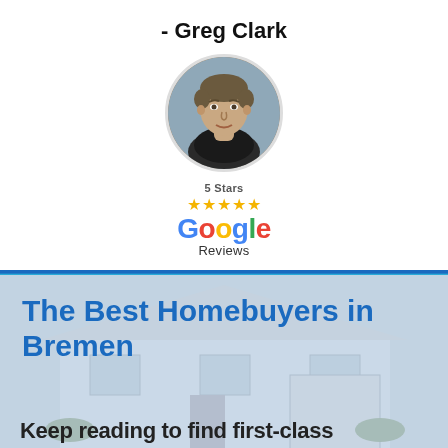- Greg Clark
[Figure (photo): Circular headshot photo of a man (Greg Clark) with short hair, looking at camera, outdoors background]
[Figure (logo): Google Reviews logo with '5 Stars' label and five gold stars above the Google Reviews wordmark]
The Best Homebuyers in Bremen
Keep reading to find first-class